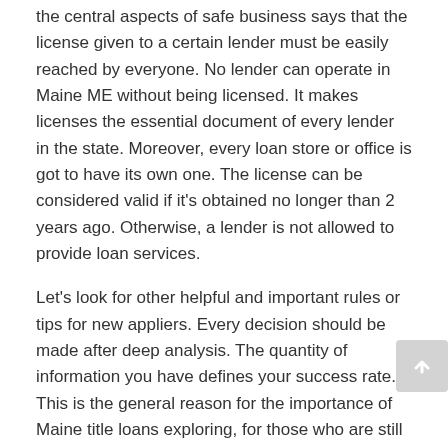the central aspects of safe business says that the license given to a certain lender must be easily reached by everyone. No lender can operate in Maine ME without being licensed. It makes licenses the essential document of every lender in the state. Moreover, every loan store or office is got to have its own one. The license can be considered valid if it's obtained no longer than 2 years ago. Otherwise, a lender is not allowed to provide loan services.
Let's look for other helpful and important rules or tips for new appliers. Every decision should be made after deep analysis. The quantity of information you have defines your success rate. This is the general reason for the importance of Maine title loans exploring, for those who are still willing to take a loan. What could be expected of lenders? How to begin this «journey?»
American title loans Maine details
The main document for both their clients are: